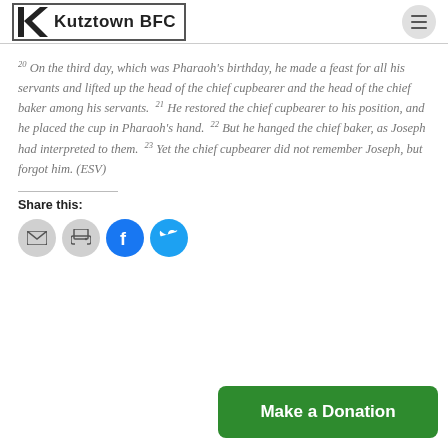Kutztown BFC
20 On the third day, which was Pharaoh's birthday, he made a feast for all his servants and lifted up the head of the chief cupbearer and the head of the chief baker among his servants. 21 He restored the chief cupbearer to his position, and he placed the cup in Pharaoh's hand. 22 But he hanged the chief baker, as Joseph had interpreted to them. 23 Yet the chief cupbearer did not remember Joseph, but forgot him. (ESV)
Share this:
[Figure (infographic): Four social sharing icon buttons: email (grey), print (grey), Facebook (blue), Twitter (blue)]
Make a Donation